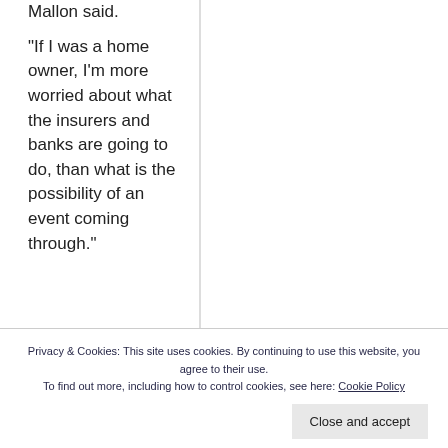Mallon said.
“If I was a home owner, I’m more worried about what the insurers and banks are going to do, than what is the possibility of an event coming through.”
Privacy & Cookies: This site uses cookies. By continuing to use this website, you agree to their use.
To find out more, including how to control cookies, see here: Cookie Policy
“worsening